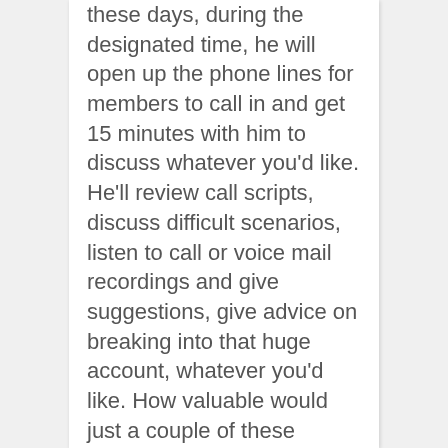these days, during the designated time, he will open up the phone lines for members to call in and get 15 minutes with him to discuss whatever you'd like. He'll review call scripts, discuss difficult scenarios, listen to call or voice mail recordings and give suggestions, give advice on breaking into that huge account, whatever you'd like. How valuable would just a couple of these sessions be? Now just think of what it would be worth to do that EVERY month! Over an $800 yearly